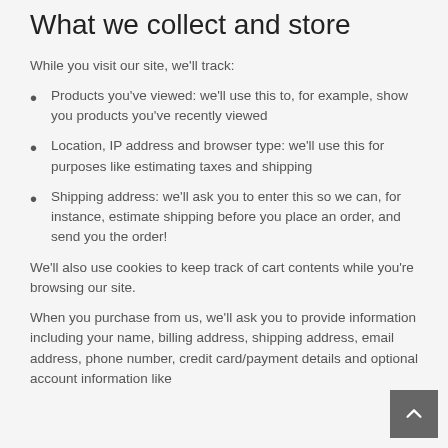What we collect and store
While you visit our site, we'll track:
Products you've viewed: we'll use this to, for example, show you products you've recently viewed
Location, IP address and browser type: we'll use this for purposes like estimating taxes and shipping
Shipping address: we'll ask you to enter this so we can, for instance, estimate shipping before you place an order, and send you the order!
We'll also use cookies to keep track of cart contents while you're browsing our site.
When you purchase from us, we'll ask you to provide information including your name, billing address, shipping address, email address, phone number, credit card/payment details and optional account information like